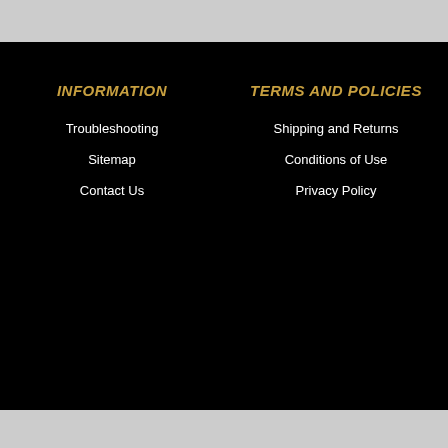INFORMATION
Troubleshooting
Sitemap
Contact Us
TERMS AND POLICIES
Shipping and Returns
Conditions of Use
Privacy Policy